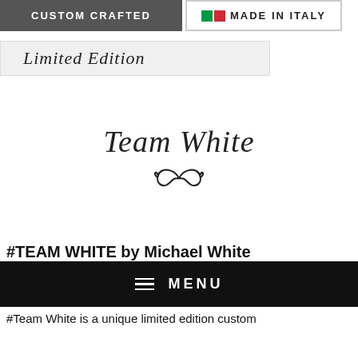[Figure (logo): Custom Crafted badge (dark grey background, white bold uppercase text 'CUSTOM CRAFTED') and Made in Italy badge (white background, green and red flag squares, bold uppercase text 'MADE IN ITALY')]
[Figure (logo): Limited Edition badge with light grey background, cursive italic script text 'Limited Edition']
[Figure (logo): Team White cursive/script logo with decorative infinity/flourish symbol below]
#TEAM WHITE by Michael White
[Figure (screenshot): Black navigation menu bar with hamburger icon and 'MENU' text in white uppercase letters]
#Team White is a unique limited edition custom